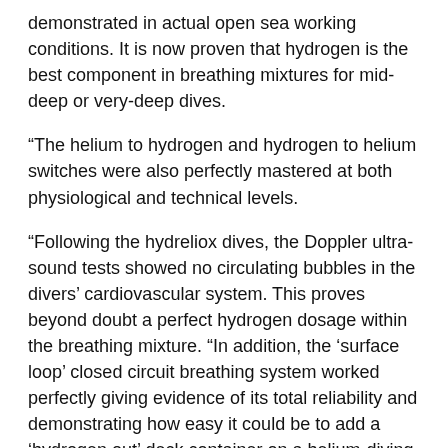demonstrated in actual open sea working conditions. It is now proven that hydrogen is the best component in breathing mixtures for mid-deep or very-deep dives.
“The helium to hydrogen and hydrogen to helium switches were also perfectly mastered at both physiological and technical levels.
“Following the hydreliox dives, the Doppler ultra-sound tests showed no circulating bubbles in the divers’ cardiovascular system. This proves beyond doubt a perfect hydrogen dosage within the breathing mixture. “In addition, the ‘surface loop’ closed circuit breathing system worked perfectly giving evidence of its total reliability and demonstrating how easy it could be to add a ‘hydrogen out’ deck container on a helium-diving support system.”
Comex maintains there is a long-term role for divers, despite